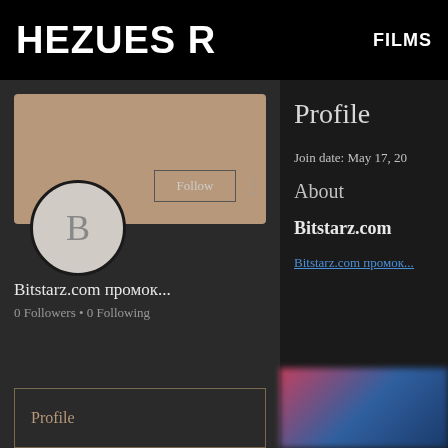HEZUES R   FILMS
[Figure (screenshot): User profile page showing a tan/beige banner, circular avatar with letter B, Follow button, three-dot menu, username Bitstarz.com промок..., 0 Followers • 0 Following, and a Profile tab at the bottom]
Bitstarz.com промок...
0 Followers • 0 Following
Profile
Profile
Join date: May 17, 20
About
Bitstarz.com
Bitstarz.com промок...